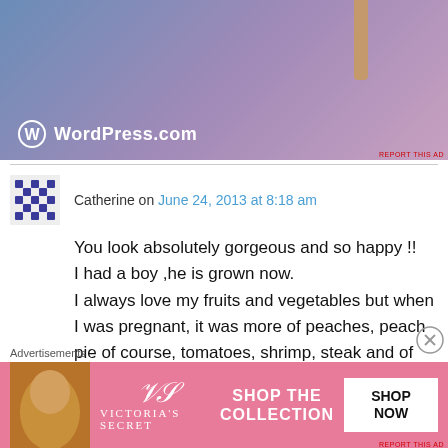[Figure (screenshot): WordPress.com advertisement banner with blue-purple gradient background and a tan/brown vertical bar at top. WordPress logo (W in circle) with WordPress.com text in white.]
REPORT THIS AD
Catherine on June 24, 2013 at 8:18 am
You look absolutely gorgeous and so happy !! I had a boy ,he is grown now. I always love my fruits and vegetables but when I was pregnant, it was more of peaches, peach pie of course, tomatoes, shrimp, steak and of course pasta of all kinds ( the Italian in me ) !
Advertisements
[Figure (screenshot): Victoria's Secret advertisement banner with pink background, woman's face on left, VS logo and 'SHOP THE COLLECTION' text, and 'SHOP NOW' white button.]
REPORT THIS AD